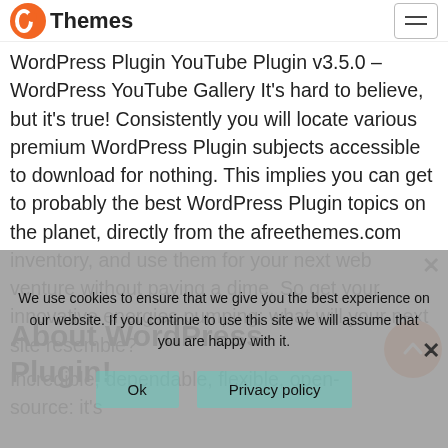Themes
WordPress Plugin YouTube Plugin v3.5.0 – WordPress YouTube Gallery It's hard to believe, but it's true! Consistently you will locate various premium WordPress Plugin subjects accessible to download for nothing. This implies you can get to probably the best WordPress Plugin topics on the planet, directly from the afreethemes.com inventory, and use them for your next web venture without paying a dime. So get your innovative energies pumping: what will your next site resemble?
About WordPress Plugin!
Incredible, dependable, flexible, open-source: it's
We use cookies to ensure that we give you the best experience on our website. If you continue to use this site we will assume that you are happy with it.